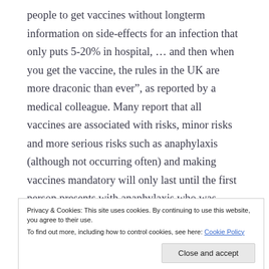people to get vaccines without longterm information on side-effects for an infection that only puts 5-20% in hospital, ... and then when you get the vaccine, the rules in the UK are more draconic than ever”, as reported by a medical colleague. Many report that all vaccines are associated with risks, minor risks and more serious risks such as anaphylaxis (although not occurring often) and making vaccines mandatory will only last until the first person presents with anaphylaxis who was “forced to get a vaccine”, as reported by a legal colleague.
Privacy & Cookies: This site uses cookies. By continuing to use this website, you agree to their use.
To find out more, including how to control cookies, see here: Cookie Policy
Close and accept
the covid vaccine to all adults within the general